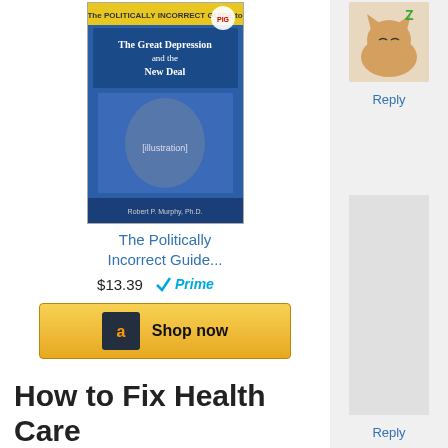[Figure (photo): Book cover: The Politically Incorrect Guide to the Great Depression and the New Deal]
The Politically Incorrect Guide...
$13.39
[Figure (logo): Amazon Prime badge with checkmark]
[Figure (logo): Amazon Shop now button]
How to Fix Health Care
[Figure (logo): Amazon logo]
[Figure (photo): Book cover: The Primal Prescription - Surviving the Sick Care Sinkhole]
Reply
[Figure (illustration): Sleeping cartoon cat avatar in sidebar top]
Reply
[Figure (illustration): Sidebar bottom avatar placeholder]